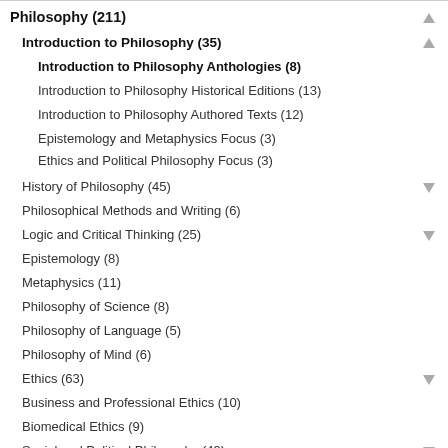Philosophy (211)
Introduction to Philosophy (35)
Introduction to Philosophy Anthologies (8)
Introduction to Philosophy Historical Editions (13)
Introduction to Philosophy Authored Texts (12)
Epistemology and Metaphysics Focus (3)
Ethics and Political Philosophy Focus (3)
History of Philosophy (45)
Philosophical Methods and Writing (6)
Logic and Critical Thinking (25)
Epistemology (8)
Metaphysics (11)
Philosophy of Science (8)
Philosophy of Language (5)
Philosophy of Mind (6)
Ethics (63)
Business and Professional Ethics (10)
Biomedical Ethics (9)
Social and Political Philosophy (49)